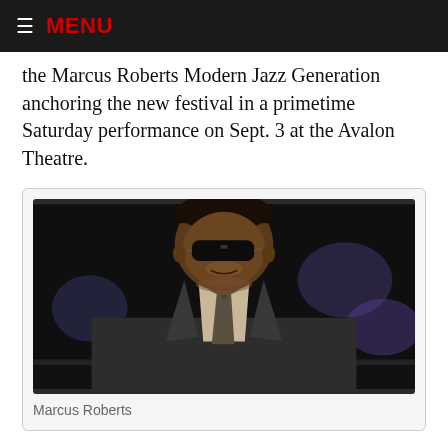MENU
the Marcus Roberts Modern Jazz Generation anchoring the new festival in a primetime Saturday performance on Sept. 3 at the Avalon Theatre.
[Figure (photo): Portrait photo of Marcus Roberts, a man in a dark suit and tie wearing sunglasses, seated at a piano, photographed in low light concert setting.]
Marcus Roberts
In a 2014 “60 Minutes” telecast, famed trumpeter and Jazz at Lincoln Center director Wynton Marsalis shed